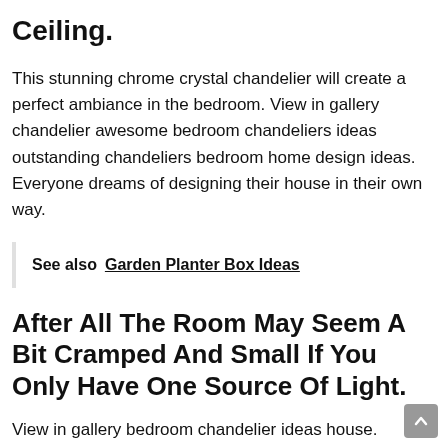Ceiling.
This stunning chrome crystal chandelier will create a perfect ambiance in the bedroom. View in gallery chandelier awesome bedroom chandeliers ideas outstanding chandeliers bedroom home design ideas. Everyone dreams of designing their house in their own way.
See also  Garden Planter Box Ideas
After All The Room May Seem A Bit Cramped And Small If You Only Have One Source Of Light.
View in gallery bedroom chandelier ideas house. Somehow